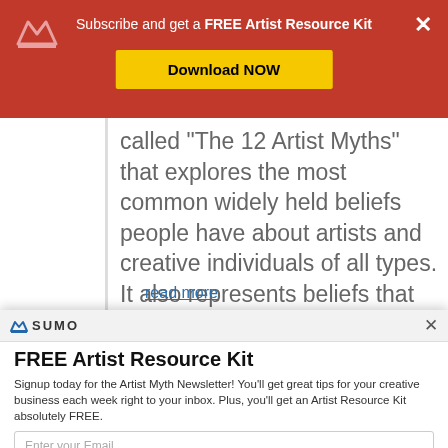Subscribe and get a FREE Artist Resource Kit
called "The 12 Artist Myths" that explores the most common widely held beliefs people have about artists and creative individuals of all types. It also represents beliefs that we artists have about ourselves that hold us...
read more
FREE Artist Resource Kit
Signup today for the Artist Myth Newsletter! You'll get great tips for your creative business each week right to your inbox. Plus, you'll get an Artist Resource Kit absolutely FREE.